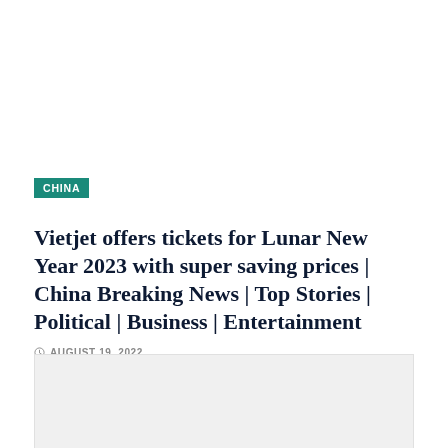CHINA
Vietjet offers tickets for Lunar New Year 2023 with super saving prices | China Breaking News | Top Stories | Political | Business | Entertainment
AUGUST 19, 2022
[Figure (photo): Gray placeholder image area at bottom of page]